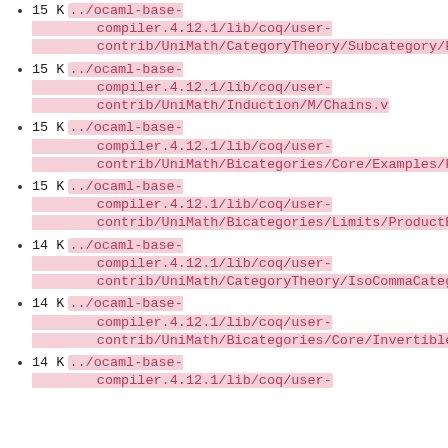15 K ../ocaml-base-compiler.4.12.1/lib/coq/user-contrib/UniMath/CategoryTheory/Subcategory/Fu...
15 K ../ocaml-base-compiler.4.12.1/lib/coq/user-contrib/UniMath/Induction/M/Chains.v
15 K ../ocaml-base-compiler.4.12.1/lib/coq/user-contrib/UniMath/Bicategories/Core/Examples/Fi...
15 K ../ocaml-base-compiler.4.12.1/lib/coq/user-contrib/UniMath/Bicategories/Limits/ProductEqu...
14 K ../ocaml-base-compiler.4.12.1/lib/coq/user-contrib/UniMath/CategoryTheory/IsoCommaCategor...
14 K ../ocaml-base-compiler.4.12.1/lib/coq/user-contrib/UniMath/Bicategories/Core/Invertible_2...
14 K ../ocaml-base-compiler.4.12.1/lib/coq/user-contrib/UniMath/...